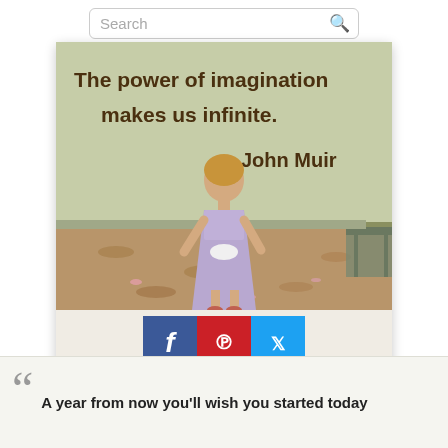[Figure (screenshot): Search bar at top of webpage]
[Figure (photo): Photo of a young girl in a lavender dress with a white bow, standing with her back to camera, facing a wall with the handwritten quote 'The power of imagination makes us infinite. John Muir' painted on it. Below the photo are Facebook, Pinterest, and Twitter share buttons.]
A year from now you'll wish you started today